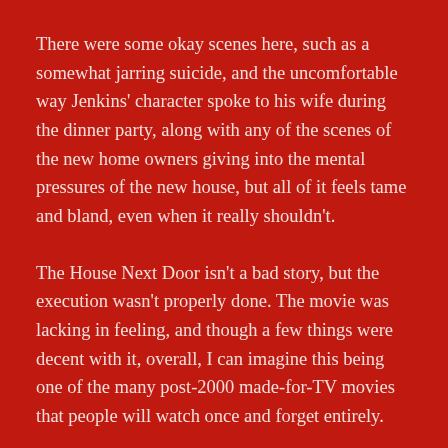There were some okay scenes here, such as a somewhat jarring suicide, and the uncomfortable way Jenkins' character spoke to his wife during the dinner party, along with any of the scenes of the new home owners giving into the mental pressures of the new house, but all of it feels tame and bland, even when it really shouldn't.
The House Next Door isn't a bad story, but the execution wasn't properly done. The movie was lacking in feeling, and though a few things were decent with it, overall, I can imagine this being one of the many post-2000 made-for-TV movies that people will watch once and forget entirely.